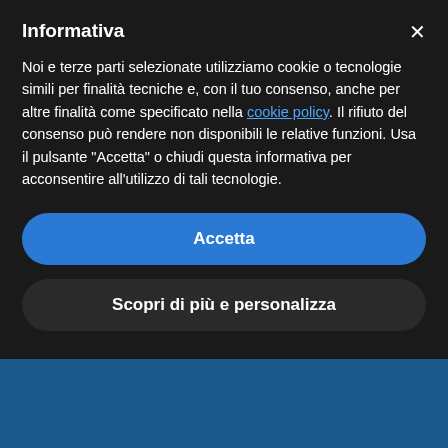Informativa
Noi e terze parti selezionate utilizziamo cookie o tecnologie simili per finalità tecniche e, con il tuo consenso, anche per altre finalità come specificato nella cookie policy. Il rifiuto del consenso può rendere non disponibili le relative funzioni. Usa il pulsante “Accetta” o chiudi questa informativa per acconsentire all’utilizzo di tali tecnologie.
Accetta
Scopri di più e personalizza
Le Strade del Vino
Città del Vino
Consorzio del Chianti
Toscana nel Cuore
Visit Tuscany
MUDEV